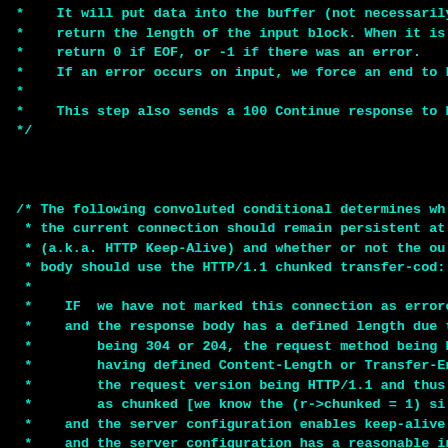Code comment block: C source code showing HTTP connection handling logic. Two comment blocks visible. First (partial): describes input buffer filling, returning length, returning 0 if EOF or -1 on error, forcing end on error, and sending 100 Continue response to HTTP. Second: describes conditional logic for determining if connection should remain persistent (HTTP Keep-Alive) and whether to use HTTP/1.1 chunked transfer-coding, with multiple sub-conditions listed.